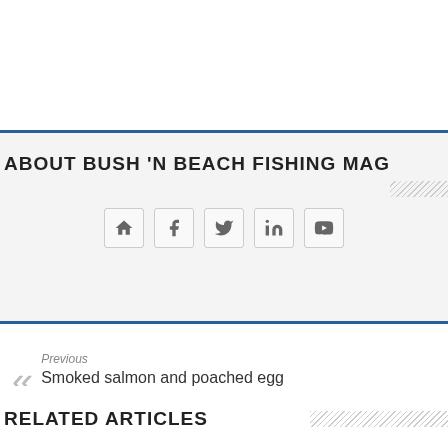ABOUT BUSH 'N BEACH FISHING MAG
[Figure (infographic): Social media icons: home, facebook, twitter, linkedin, youtube]
Previous
Smoked salmon and poached egg recipe
Next
New positive results for white spot disease in Moreton Bay
RELATED ARTICLES